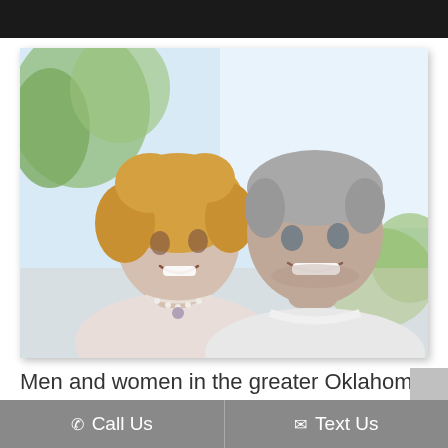[Figure (photo): A smiling middle-aged couple outdoors. A woman with short blonde/curly hair wearing a pearl necklace leans toward a man with gray hair in a white shirt. Green trees and a light sky in the background.]
Men and women in the greater Oklahoma City area
Call Us
Text Us